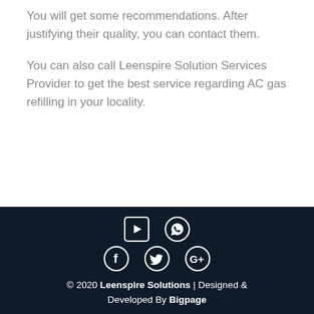You will get some recommendations. After justifying their quality, you can contact them.
You can also call Leenspire Solution Services Provider to get the best service regarding AC gas refilling in your locality.
© 2020 Leenspire Solutions | Designed & Developed By Bigpage